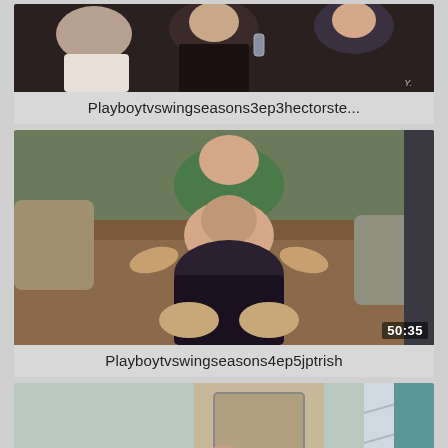[Figure (screenshot): Video thumbnail 1: group of people at a party scene, dark background]
Playboytvswingseasons3ep3hectorste...
[Figure (screenshot): Video thumbnail 2: man and woman on a couch, duration 50:35]
Playboytvswingseasons4ep5jptrish
[Figure (screenshot): Video thumbnail 3: three people on a couch, duration 10:51]